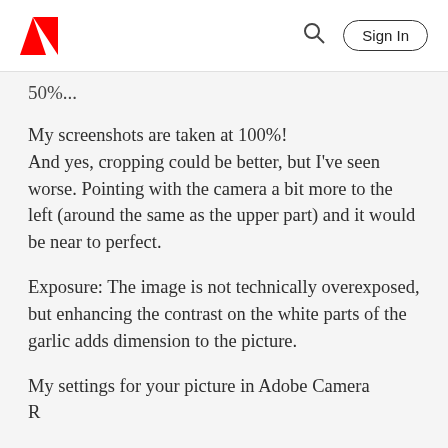Adobe | Sign In
50%...
My screenshots are taken at 100%!
And yes, cropping could be better, but I've seen worse. Pointing with the camera a bit more to the left (around the same as the upper part) and it would be near to perfect.
Exposure: The image is not technically overexposed, but enhancing the contrast on the white parts of the garlic adds dimension to the picture.
My settings for your picture in Adobe Camera R...